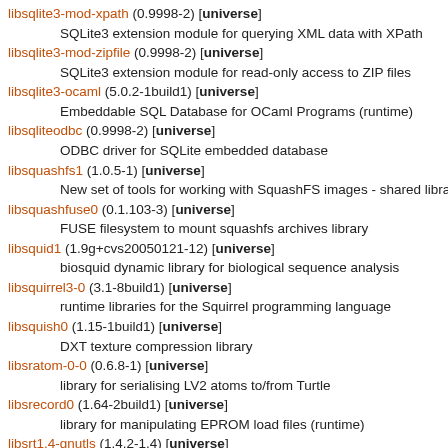libsqlite3-mod-xpath (0.9998-2) [universe]
        SQLite3 extension module for querying XML data with XPath
libsqlite3-mod-zipfile (0.9998-2) [universe]
        SQLite3 extension module for read-only access to ZIP files
libsqlite3-ocaml (5.0.2-1build1) [universe]
        Embeddable SQL Database for OCaml Programs (runtime)
libsqliteodbc (0.9998-2) [universe]
        ODBC driver for SQLite embedded database
libsquashfs1 (1.0.5-1) [universe]
        New set of tools for working with SquashFS images - shared library
libsquashfuse0 (0.1.103-3) [universe]
        FUSE filesystem to mount squashfs archives library
libsquid1 (1.9g+cvs20050121-12) [universe]
        biosquid dynamic library for biological sequence analysis
libsquirrel3-0 (3.1-8build1) [universe]
        runtime libraries for the Squirrel programming language
libsquish0 (1.15-1build1) [universe]
        DXT texture compression library
libsratom-0-0 (0.6.8-1) [universe]
        library for serialising LV2 atoms to/from Turtle
libsrecord0 (1.64-2build1) [universe]
        library for manipulating EPROM load files (runtime)
libsrt1.4-gnutls (1.4.2-1.4) [universe]